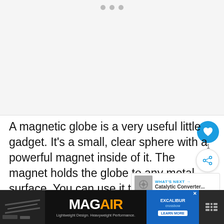[Figure (photo): Large empty image placeholder area with light gray background and three navigation dots at the top center]
A magnetic globe is a very useful little gadget. It's a small, clear sphere with a powerful magnet inside of it. The magnet holds the globe to any metal surface. You can use it to hold th... the top of your refrigerator so you won't lose track of it, but you can use it for many other purposes too.
[Figure (infographic): WHAT'S NEXT banner showing Catalytic Converter... with small gears image]
[Figure (infographic): Bottom advertisement banner: MAGAIR - Lightweight Design. Heavyweight Performance. with Excalibur crossbow ad and Learn More button]